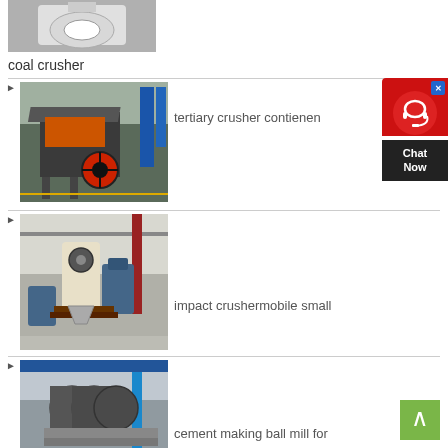[Figure (photo): Industrial coal crusher machine, white large cone-shaped equipment in a factory setting]
coal crusher
[Figure (photo): Tertiary crusher machine (impact crusher) with orange wheel in an industrial factory, blue banners visible in background]
tertiary crusher contienen
[Figure (photo): Mobile small impact crusher equipment in factory, featuring cream-colored and blue industrial machinery]
impact crushermobile small
[Figure (photo): Cement making ball mill equipment in industrial factory setting, dark grey large cylindrical mill]
cement making ball mill for